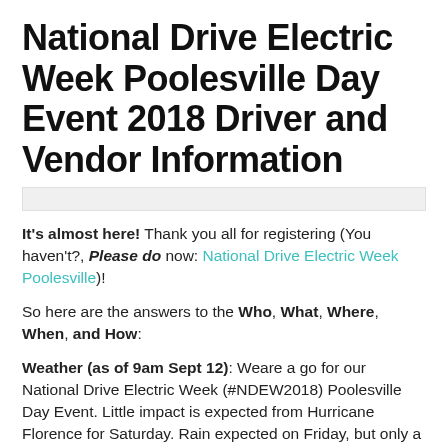National Drive Electric Week Poolesville Day Event 2018 Driver and Vendor Information
It's almost here!  Thank you all for registering (You haven't?, Please do now: National Drive Electric Week Poolesville)!
So here are the answers to the Who, What, Where, When, and How:
Weather (as of 9am Sept 12): Weare a go for our National Drive Electric Week (#NDEW2018) Poolesville Day Event. Little impact is expected from Hurricane Florence for Saturday.  Rain expected on Friday, but only a small chance of a passing shower on Saturday. Saturday will be mostly cloudy.